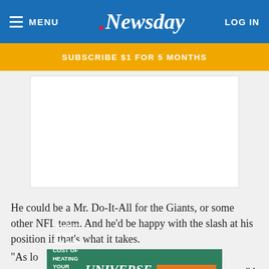MENU | Newsday | LOG IN
SUBSCRIBE $1 FOR 5 MONTHS
[Figure (other): Advertisement placeholder (white rectangle)]
He could be a Mr. Do-It-All for the Giants, or some other NFL team. And he'd be happy with the slash at his position if that's what it takes.
[Figure (other): Universe Home Services advertisement banner: WORRIED ABOUT THE HIGH COST OF HEATING YOUR HOME WITH OIL? Convert from oil-to-gas with Universe! CONVERT NOW & SAVE!]
"As lo... ," he